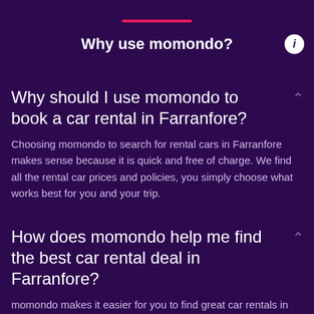Why use momondo?
Why should I use momondo to book a car rental in Farranfore?
Choosing momondo to search for rental cars in Farranfore makes sense because it is quick and free of charge. We find all the rental car prices and policies, you simply choose what works best for you and your trip.
How does momondo help me find the best car rental deal in Farranfore?
momondo makes it easier for you to find great car rentals in Farranfore, by allowing you to refine your search with numerous filtering options. You can narrow your selection by looking at